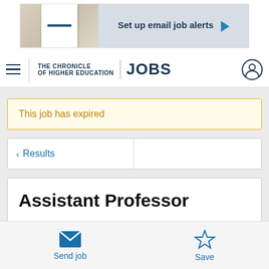[Figure (screenshot): Advertisement banner: Set up email job alerts with arrow]
THE CHRONICLE OF HIGHER EDUCATION | JOBS
This job has expired
< Results
Assistant Professor
Send job
Save